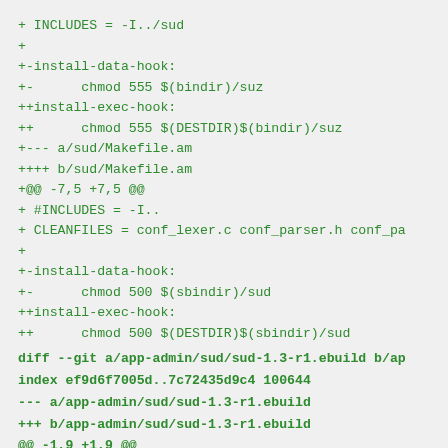+ INCLUDES = -I../sud
+
+-install-data-hook:
+-      chmod 555 $(bindir)/suz
++install-exec-hook:
++      chmod 555 $(DESTDIR)$(bindir)/suz
+--- a/sud/Makefile.am
++++ b/sud/Makefile.am
+@@ -7,5 +7,5 @@
+ #INCLUDES = -I..
+ CLEANFILES = conf_lexer.c conf_parser.h conf_pa
+
+-install-data-hook:
+-      chmod 500 $(sbindir)/sud
++install-exec-hook:
++      chmod 500 $(DESTDIR)$(sbindir)/sud
diff --git a/app-admin/sud/sud-1.3-r1.ebuild b/ap
index ef9d6f7005d..7c72435d9c4 100644
--- a/app-admin/sud/sud-1.3-r1.ebuild
+++ b/app-admin/sud/sud-1.3-r1.ebuild
@@ -1,9 +1,9 @@